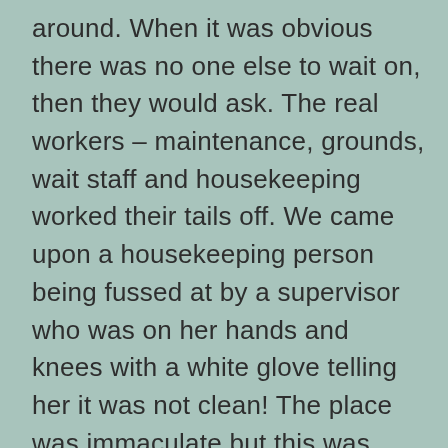around. When it was obvious there was no one else to wait on, then they would ask. The real workers – maintenance, grounds, wait staff and housekeeping worked their tails off. We came upon a housekeeping person being fussed at by a supervisor who was on her hands and knees with a white glove telling her it was not clean! The place was immaculate but this was proof that their standards were set very high. I am thrilled to have taken the vacation, but will not return to the Riu Palace. Not that the experience was that bad, just that there are other places to be seen.